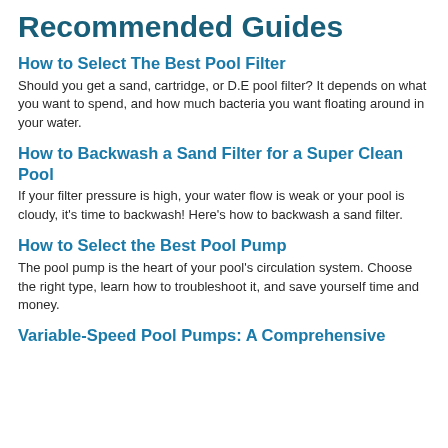Recommended Guides
How to Select The Best Pool Filter
Should you get a sand, cartridge, or D.E pool filter? It depends on what you want to spend, and how much bacteria you want floating around in your water.
How to Backwash a Sand Filter for a Super Clean Pool
If your filter pressure is high, your water flow is weak or your pool is cloudy, it's time to backwash! Here's how to backwash a sand filter.
How to Select the Best Pool Pump
The pool pump is the heart of your pool's circulation system. Choose the right type, learn how to troubleshoot it, and save yourself time and money.
Variable-Speed Pool Pumps: A Comprehensive